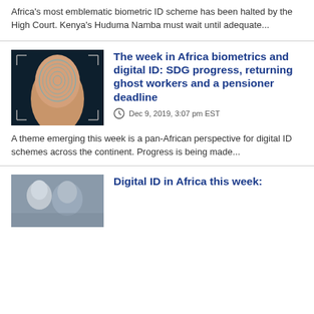Africa's most emblematic biometric ID scheme has been halted by the High Court. Kenya's Huduma Namba must wait until adequate...
[Figure (photo): Close-up photo of a finger with a glowing blue fingerprint scan overlay on a dark background]
The week in Africa biometrics and digital ID: SDG progress, returning ghost workers and a pensioner deadline
Dec 9, 2019, 3:07 pm EST
A theme emerging this week is a pan-African perspective for digital ID schemes across the continent. Progress is being made...
[Figure (photo): Partial photo of people, partially visible at bottom of page]
Digital ID in Africa this week: